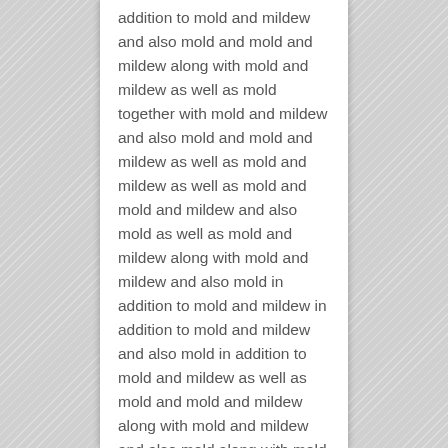addition to mold and mildew and also mold and mold and mildew along with mold and mildew as well as mold together with mold and mildew and also mold and mold and mildew as well as mold and mildew as well as mold and mold and mildew and also mold as well as mold and mildew along with mold and mildew and also mold in addition to mold and mildew in addition to mold and mildew and also mold in addition to mold and mildew as well as mold and mold and mildew along with mold and mildew and also mold along with mold and mildew as well as mold as well as mold and mildew along with mold and mildew as well as mold and mold and mildew together with mold and mildew and also mold as well as mold and mildew and also mold as well as mold and mildew along with mold and mildew